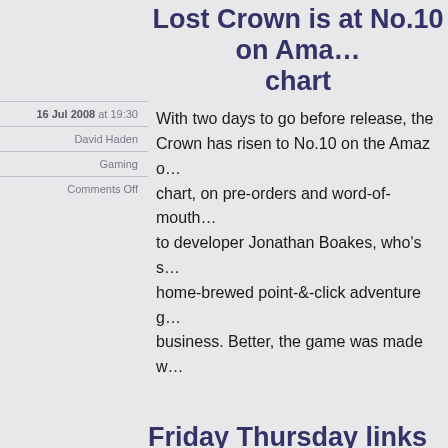Lost Crown is at No.10 on Amazon chart
16 Jul 2008 at 19:30
David Haden
Gaming
Comments Off
With two days to go before release, the Lost Crown has risen to No.10 on the Amazon chart, on pre-orders and word-of-mouth. to developer Jonathan Boakes, who's s home-brewed point-&-click adventure g business. Better, the game was made w
Friday Thursday links lucky-dip,
10 Jul 2008 at 07:01
David Haden
Artist(s), Birmingham, D'log
The weekly bookmarks digest (normal s Sept), and a day earlier than usual.... F twitter-fight // The Airship Destroyer (19 which fleets of German naval airships i